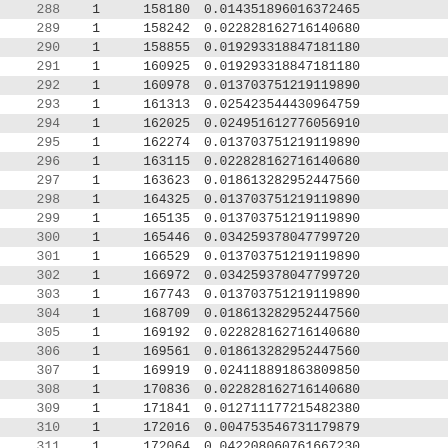| 288 | 1 | 158180 | 0.014351896016372465 |
| 289 | 1 | 158242 | 0.022828162716140686 |
| 290 | 1 | 158855 | 0.019293318847181180 |
| 291 | 1 | 160925 | 0.019293318847181180 |
| 292 | 1 | 160978 | 0.013703751219119890 |
| 293 | 1 | 161313 | 0.025423544430964759 |
| 294 | 1 | 162025 | 0.024951612776056910 |
| 295 | 1 | 162274 | 0.013703751219119890 |
| 296 | 1 | 163115 | 0.022828162716140686 |
| 297 | 1 | 163623 | 0.018613282952447560 |
| 298 | 1 | 164325 | 0.013703751219119890 |
| 299 | 1 | 165135 | 0.013703751219119890 |
| 300 | 1 | 165446 | 0.034259378047799720 |
| 301 | 1 | 166529 | 0.013703751219119890 |
| 302 | 1 | 166972 | 0.034259378047799720 |
| 303 | 1 | 167743 | 0.013703751219119890 |
| 304 | 1 | 168709 | 0.018613282952447560 |
| 305 | 1 | 169192 | 0.022828162716140686 |
| 306 | 1 | 169561 | 0.018613282952447560 |
| 307 | 1 | 169919 | 0.024118891863809850 |
| 308 | 1 | 170836 | 0.022828162716140686 |
| 309 | 1 | 171841 | 0.012711177215482380 |
| 310 | 1 | 172016 | 0.004753546731179879 |
| 311 | 1 | 172064 | 0.042208060761667230 |
| 312 | 1 | 172213 | 0.013703751219119890 |
| 313 | 1 | 173141 | 0.024951612776056910 |
| 314 | 1 | 173803 | 0.048237783727621970 |
| 315 | 1 | 173845 | 0.004736887802057686 |
| 316 | 1 | 174166 | 0.013703751219119890 |